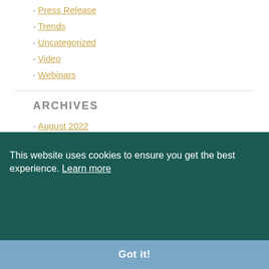· Press Release
· Trends
· Uncategorized
· Video
· Webinars
ARCHIVES
· August 2022
· July 2022
· June 2022
· November 2021
This website uses cookies to ensure you get the best experience. Learn more
Got it!